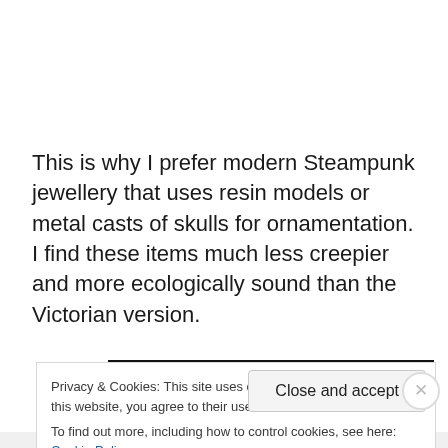This is why I prefer modern Steampunk jewellery that uses resin models or metal casts of skulls for ornamentation. I find these items much less creepier and more ecologically sound than the Victorian version.
[Figure (photo): A dark/black rectangular image block, partially visible, appearing to show a video or image content.]
Privacy & Cookies: This site uses cookies. By continuing to use this website, you agree to their use.
To find out more, including how to control cookies, see here: Cookie Policy
Close and accept